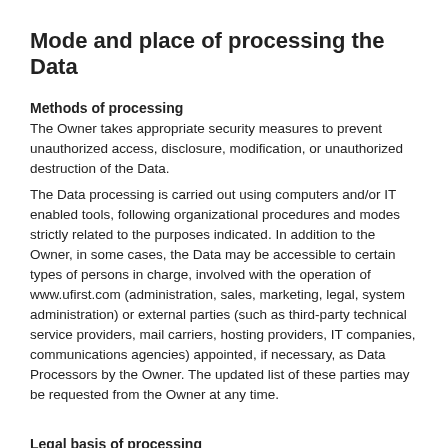Mode and place of processing the Data
Methods of processing
The Owner takes appropriate security measures to prevent unauthorized access, disclosure, modification, or unauthorized destruction of the Data.
The Data processing is carried out using computers and/or IT enabled tools, following organizational procedures and modes strictly related to the purposes indicated. In addition to the Owner, in some cases, the Data may be accessible to certain types of persons in charge, involved with the operation of www.ufirst.com (administration, sales, marketing, legal, system administration) or external parties (such as third-party technical service providers, mail carriers, hosting providers, IT companies, communications agencies) appointed, if necessary, as Data Processors by the Owner. The updated list of these parties may be requested from the Owner at any time.
Legal basis of processing
The Owner may process Personal Data relating to Users if one of the following applies:
Users have given their consent for one or more specific purposes. Note: Under some legislations the Owner may be